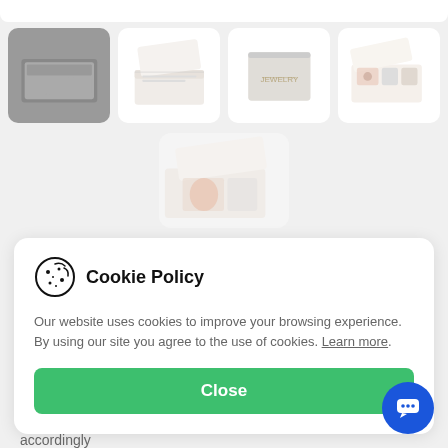[Figure (photo): Product thumbnail gallery showing gift boxes/packaging - 4 images in top row, 1 image in second row. First thumbnail shows dark grey box (selected), others show white/cream gift boxes with ribbon and contents.]
Cookie Policy
Our website uses cookies to improve your browsing experience. By using our site you agree to the use of cookies. Learn more.
accordingly